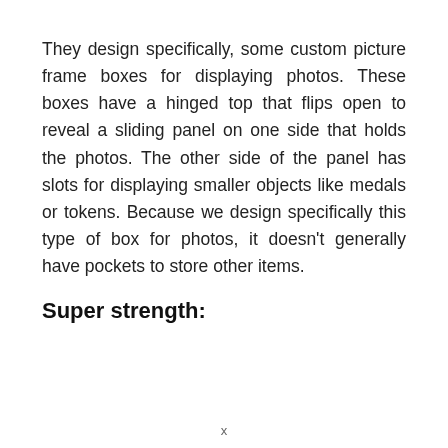They design specifically, some custom picture frame boxes for displaying photos. These boxes have a hinged top that flips open to reveal a sliding panel on one side that holds the photos. The other side of the panel has slots for displaying smaller objects like medals or tokens. Because we design specifically this type of box for photos, it doesn't generally have pockets to store other items.
Super strength: